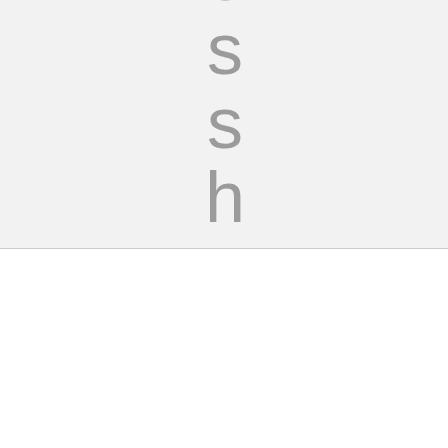[Figure (other): Large vertically stacked letters spelling 'e s s h o' in light gray on a light gray background, appearing to be part of a word cut off at the top]
By clicking “Accept All Cookies”, you agree to the storing of cookies on your device to enhance site navigation, analyse site usage, and assist in our marketing efforts.
Accept All Cookies
Cookies Settings